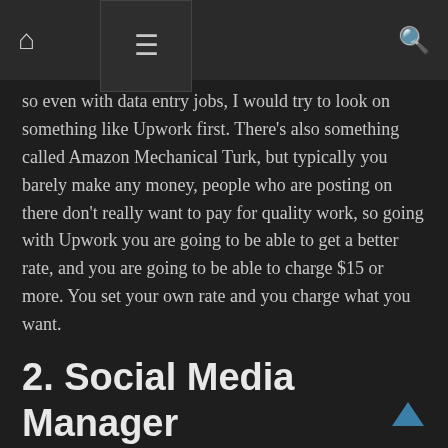Navigation bar with home icon, hamburger menu, and search icon
so even with data entry jobs, I would try to look on something like Upwork first. There's also something called Amazon Mechanical Turk, but typically you barely make any money, people who are posting on there don't really want to pay for quality work, so going with Upwork you are going to be able to get a better rate, and you are going to be able to charge $15 or more. You set your own rate and you charge what you want.
2. Social Media Manager
The next job that would be good for anyone from their early teens to their late 20s would be a social media manager.